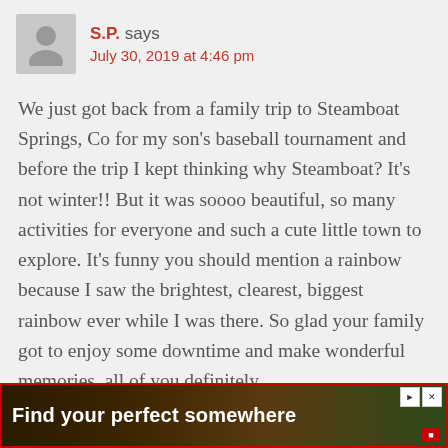S.P. says
July 30, 2019 at 4:46 pm
We just got back from a family trip to Steamboat Springs, Co for my son's baseball tournament and before the trip I kept thinking why Steamboat? It's not winter!! But it was soooo beautiful, so many activities for everyone and such a cute little town to explore. It's funny you should mention a rainbow because I saw the brightest, clearest, biggest rainbow ever while I was there. So glad your family got to enjoy some downtime and make wonderful memories, all of you definitely
[Figure (other): Advertisement banner: dark background with outdoor image, text reads 'Find your perfect somewhere', with red border, play and close buttons, and a red logo icon]